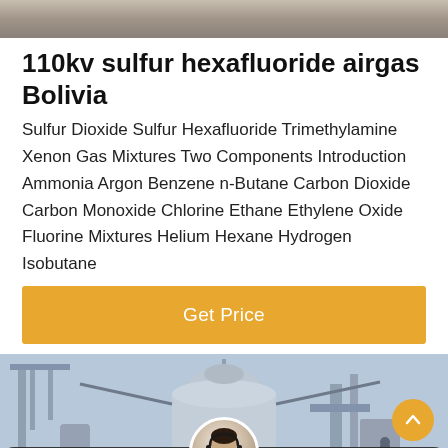[Figure (photo): Top portion of an industrial/equipment scene — blurred gray-brown image at the top of the page]
110kv sulfur hexafluoride airgas Bolivia
Sulfur Dioxide Sulfur Hexafluoride Trimethylamine Xenon Gas Mixtures Two Components Introduction Ammonia Argon Benzene n-Butane Carbon Dioxide Carbon Monoxide Chlorine Ethane Ethylene Oxide Fluorine Mixtures Helium Hexane Hydrogen Isobutane
[Figure (other): Orange 'Get Price' button]
[Figure (photo): Industrial facility photograph showing cranes, large cylindrical tanks, and equipment under bright sky, with a chat bar overlay at the bottom containing Leave Message and Chat Online buttons and a customer service avatar]